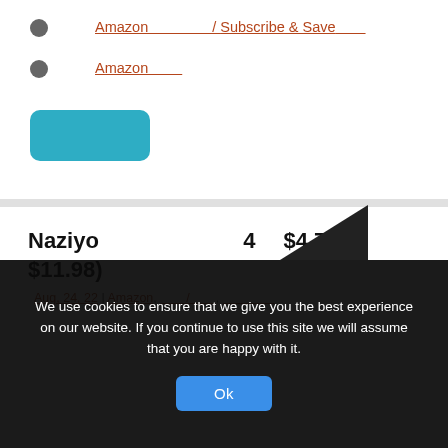Amazon　　　　 / Subscribe & Save
Amazon
(button)
Naziyo 　　　　　　 4　 $4.79(　　$11.98)
Aug, 24, 22 | Amazon, 　　/　　,
We use cookies to ensure that we give you the best experience on our website. If you continue to use this site we will assume that you are happy with it.